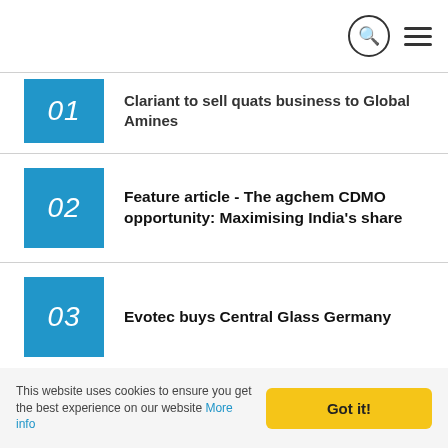Navigation bar with search and menu icons
01 — Clariant to sell quats business to Global Amines
02 — Feature article - The agchem CDMO opportunity: Maximising India's share
03 — Evotec buys Central Glass Germany
04 — BASF in Chinese alliance
05 — New centre for AFC
This website uses cookies to ensure you get the best experience on our website More info — Got it!